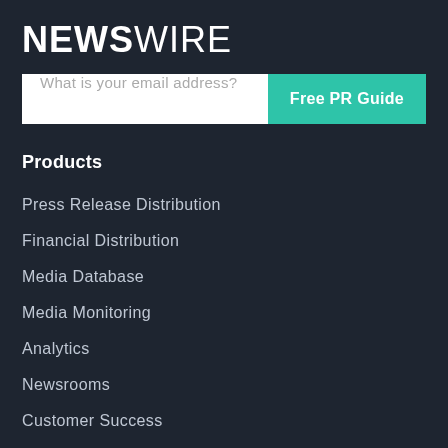NEWSWIRE
What is your email address?
Free PR Guide
Products
Press Release Distribution
Financial Distribution
Media Database
Media Monitoring
Analytics
Newsrooms
Customer Success
Media Advantage Platform (MAP)
Company